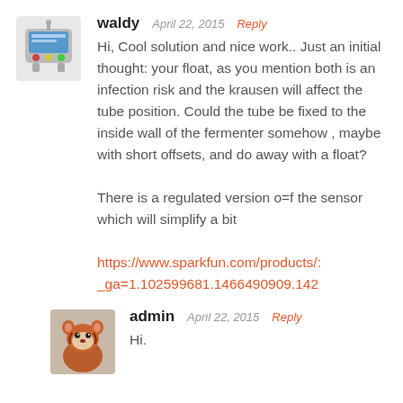waldy
April 22, 2015   Reply
Hi, Cool solution and nice work.. Just an initial thought: your float, as you mention both is an infection risk and the krausen will affect the tube position. Could the tube be fixed to the inside wall of the fermenter somehow , maybe with short offsets, and do away with a float?

There is a regulated version o=f the sensor which will simplify a bit

https://www.sparkfun.com/products/:_ga=1.102599681.1466490909.142
admin
April 22, 2015   Reply
Hi.